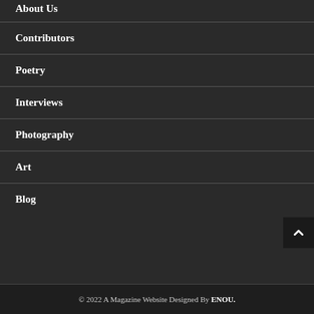About Us
Contributors
Poetry
Interviews
Photography
Art
Blog
© 2022 A Magazine Website Designed By ENOU.